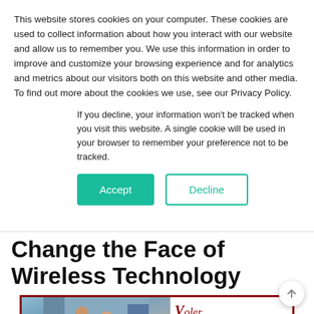This website stores cookies on your computer. These cookies are used to collect information about how you interact with our website and allow us to remember you. We use this information in order to improve and customize your browsing experience and for analytics and metrics about our visitors both on this website and other media. To find out more about the cookies we use, see our Privacy Policy.
If you decline, your information won't be tracked when you visit this website. A single cookie will be used in your browser to remember your preference not to be tracked.
Accept
Decline
Change the Face of Wireless Technology
[Figure (screenshot): Article preview card with dark red border showing a Voler Systems branded card. Left side shows a photo of a couple in a kitchen. Right side shows the Voler Systems logo and text 'How Wi-Fi Sensing Will']